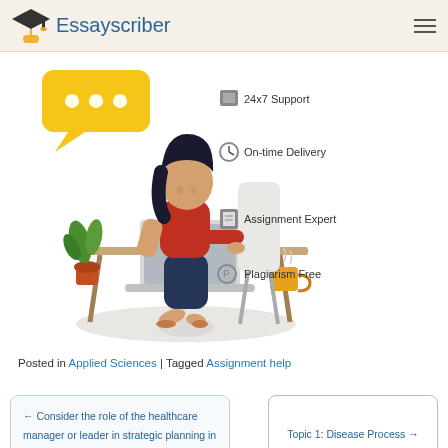Essayscriber
[Figure (illustration): Illustration of a woman sitting at a desk working on a laptop with a plant and coffee cup nearby, a yellow speech bubble above, alongside feature icons: 24x7 Support, On-time Delivery, Assignment Expert, Plagiarism Free]
Posted in Applied Sciences | Tagged Assignment help
← Consider the role of the healthcare manager or leader in strategic planning in healthcare settings. Review the case
Topic 1: Disease Process →